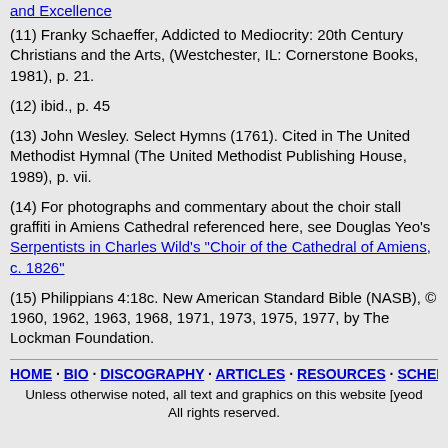and Excellence
(11) Franky Schaeffer, Addicted to Mediocrity: 20th Century Christians and the Arts, (Westchester, IL: Cornerstone Books, 1981), p. 21.
(12) ibid., p. 45
(13) John Wesley. Select Hymns (1761). Cited in The United Methodist Hymnal (The United Methodist Publishing House, 1989), p. vii.
(14) For photographs and commentary about the choir stall graffiti in Amiens Cathedral referenced here, see Douglas Yeo's Serpentists in Charles Wild's "Choir of the Cathedral of Amiens, c. 1826"
(15) Philippians 4:18c. New American Standard Bible (NASB), © 1960, 1962, 1963, 1968, 1971, 1973, 1975, 1977, by The Lockman Foundation.
HOME · BIO · DISCOGRAPHY · ARTICLES · RESOURCES · SCHEDULE · Unless otherwise noted, all text and graphics on this website [yeod All rights reserved.